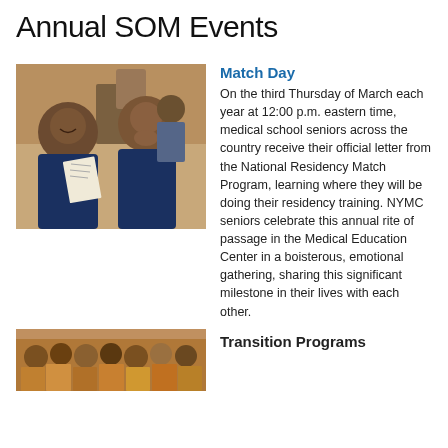Annual SOM Events
[Figure (photo): Two young women in blue reading a letter and reacting with joy and surprise]
Match Day
On the third Thursday of March each year at 12:00 p.m. eastern time, medical school seniors across the country receive their official letter from the National Residency Match Program, learning where they will be doing their residency training. NYMC seniors celebrate this annual rite of passage in the Medical Education Center in a boisterous, emotional gathering, sharing this significant milestone in their lives with each other.
[Figure (photo): Group photo at a Transition Programs event]
Transition Programs